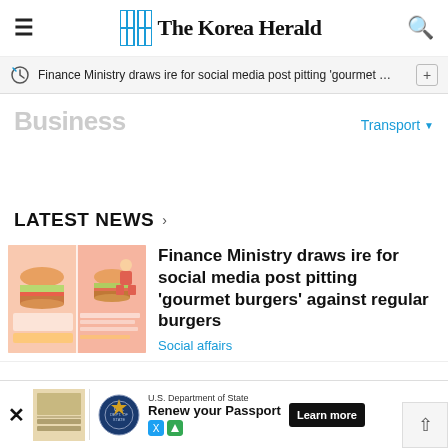The Korea Herald
Finance Ministry draws ire for social media post pitting 'gourmet …
Business
Transport ▼
LATEST NEWS
[Figure (illustration): Thumbnail image for article about gourmet burgers vs regular burgers, Korean infographic style with burger illustrations]
Finance Ministry draws ire for social media post pitting 'gourmet burgers' against regular burgers
Social affairs
[Figure (infographic): Advertisement banner: U.S. Department of State - Renew your Passport with Learn more button]